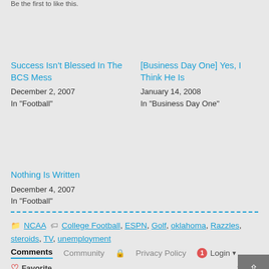Be the first to like this.
Success Isn't Blessed In The BCS Mess
December 2, 2007
In "Football"
[Business Day One] Yes, I Think He Is
January 14, 2008
In "Business Day One"
Nothing Is Written
December 4, 2007
In "Football"
NCAA  College Football, ESPN, Golf, oklahoma, Razzles, steroids, TV, unemployment
Comments  Community  Privacy Policy  1  Login
Favorite  Sort by B